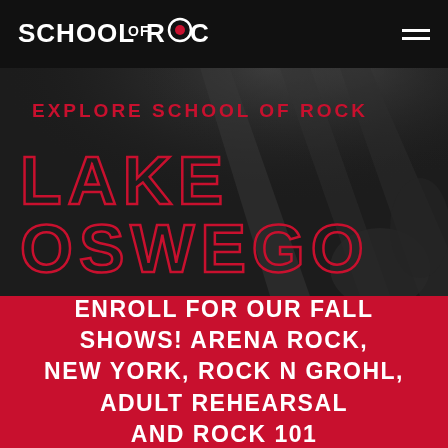School of Rock
EXPLORE SCHOOL OF ROCK
LAKE OSWEGO
ENROLL FOR OUR FALL SHOWS! ARENA ROCK, NEW YORK, ROCK N GROHL, ADULT REHEARSAL AND ROCK 101